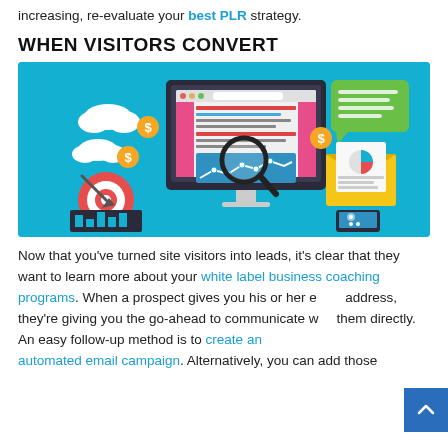increasing, re-evaluate your best PLR strategy.
WHEN VISITORS CONVERT
[Figure (illustration): Digital marketing illustration on teal/cyan background showing a desktop monitor with a website/analytics screen, magnifying glass over a line chart, target with arrow, bar chart, chat bubble, envelope with document, and mobile phone — flat design icons.]
Now that you've turned site visitors into leads, it's clear that they want to learn more about your white label business coaching programs. When a prospect gives you his or her email address, they're giving you the go-ahead to communicate with them directly. An easy follow-up method is to create an automated email campaign. Alternatively, you can add those